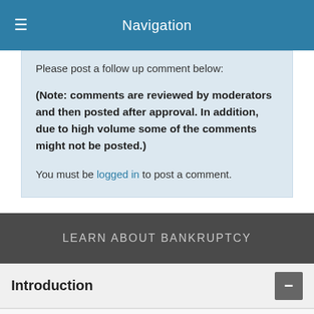Navigation
Please post a follow up comment below:
(Note: comments are reviewed by moderators and then posted after approval. In addition, due to high volume some of the comments might not be posted.)
You must be logged in to post a comment.
LEARN ABOUT BANKRUPTCY
Introduction
Get Debt Help
How To Solve Debt Problems